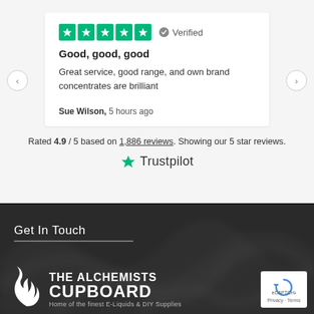[Figure (screenshot): Five green star rating boxes (Trustpilot stars) followed by a verified checkmark badge and the word 'Verified']
Good, good, good
Great service, good range, and own brand concentrates are brilliant
Sue Wilson, 5 hours ago
Rated 4.9 / 5 based on 1,886 reviews. Showing our 5 star reviews.
[Figure (logo): Trustpilot logo with green star]
Get In Touch
[Figure (logo): The Alchemists Cupboard logo — white flame/scroll icon with bold white text THE ALCHEMISTS CUPBOARD and tagline Home of the finest E-Liquids & DIY Supplies]
[Figure (other): Google reCAPTCHA badge showing the reCAPTCHA logo with Privacy and Terms links]